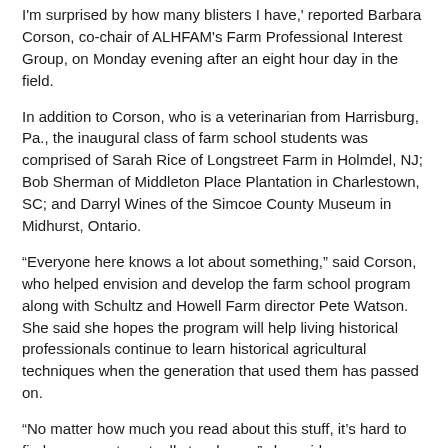I'm surprised by how many blisters I have,' reported Barbara Corson, co-chair of ALHFAM's Farm Professional Interest Group, on Monday evening after an eight hour day in the field.
In addition to Corson, who is a veterinarian from Harrisburg, Pa., the inaugural class of farm school students was comprised of Sarah Rice of Longstreet Farm in Holmdel, NJ; Bob Sherman of Middleton Place Plantation in Charlestown, SC; and Darryl Wines of the Simcoe County Museum in Midhurst, Ontario.
“Everyone here knows a lot about something,” said Corson, who helped envision and develop the farm school program along with Schultz and Howell Farm director Pete Watson. She said she hopes the program will help living historical professionals continue to learn historical agricultural techniques when the generation that used them has passed on.
“No matter how much you read about this stuff, it’s hard to find someone to actually teach you,” she said.